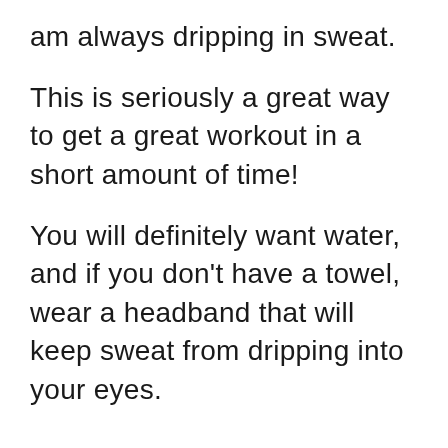am always dripping in sweat.
This is seriously a great way to get a great workout in a short amount of time!
You will definitely want water, and if you don't have a towel, wear a headband that will keep sweat from dripping into your eyes.